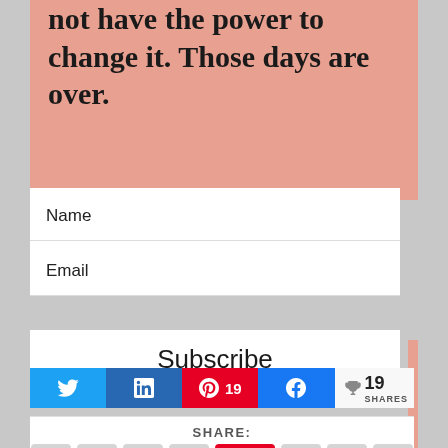not have the power to change it. Those days are over.
Name
Email
Subscribe
19 SHARES
SHARE: